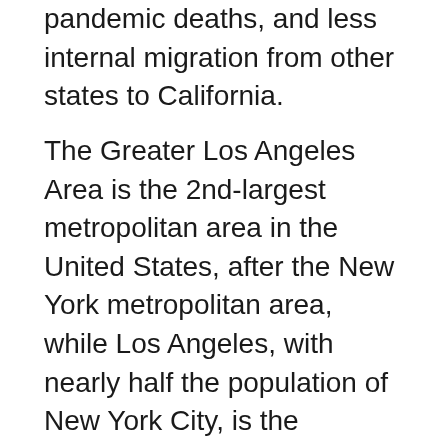pandemic deaths, and less internal migration from other states to California.
The Greater Los Angeles Area is the 2nd-largest metropolitan area in the United States, after the New York metropolitan area, while Los Angeles, with nearly half the population of New York City, is the second-largest city in the United States. Conversely, San Francisco, with nearly one-quarter the population density of Manhattan, is the most densely populated city in California and one of the most densely populated cities in the United States. Also, Los Angeles County has held the title of most populous United States county for decades, and it alone is more